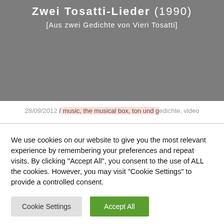[Figure (illustration): Dark grey banner image with white text showing music piece title 'Zwei Tosatti-Lieder (1990)' and subtitle '[Aus zwei Gedichte von Vieri Tosatti]']
28/09/2012 / music, the musical box, ton und gedichte, video
We use cookies on our website to give you the most relevant experience by remembering your preferences and repeat visits. By clicking "Accept All", you consent to the use of ALL the cookies. However, you may visit "Cookie Settings" to provide a controlled consent.